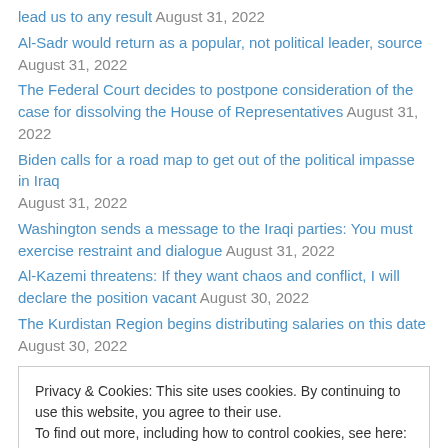lead us to any result August 31, 2022
Al-Sadr would return as a popular, not political leader, source August 31, 2022
The Federal Court decides to postpone consideration of the case for dissolving the House of Representatives August 31, 2022
Biden calls for a road map to get out of the political impasse in Iraq August 31, 2022
Washington sends a message to the Iraqi parties: You must exercise restraint and dialogue August 31, 2022
Al-Kazemi threatens: If they want chaos and conflict, I will declare the position vacant August 30, 2022
The Kurdistan Region begins distributing salaries on this date August 30, 2022
Privacy & Cookies: This site uses cookies. By continuing to use this website, you agree to their use. To find out more, including how to control cookies, see here: Cookie Policy
Blog Stats